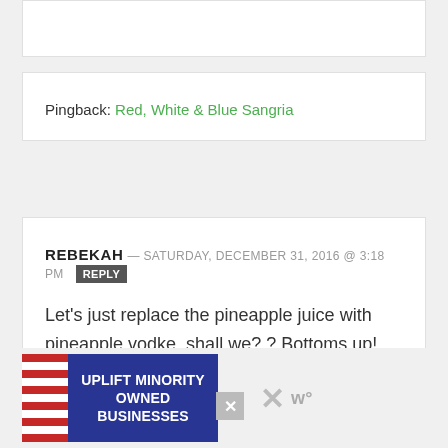Pingback: Red, White & Blue Sangria
REBEKAH — SATURDAY, DECEMBER 31, 2016 @ 3:18 PM [REPLY]
Let's just replace the pineapple juice with pineapple vodke, shall we? ? Bottoms up! Yum, yum!
[Figure (other): Advertisement banner: UPLIFT MINORITY OWNED BUSINESSES with storefront illustration on dark blue background]